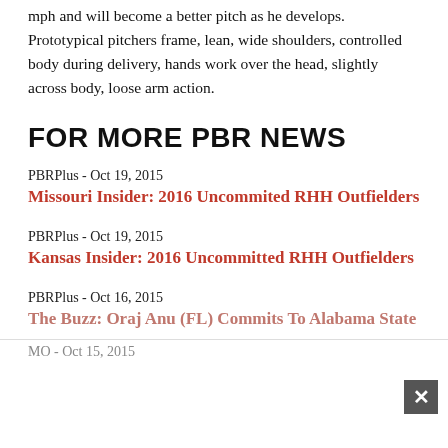mph and will become a better pitch as he develops. Prototypical pitchers frame, lean, wide shoulders, controlled body during delivery, hands work over the head, slightly across body, loose arm action.
FOR MORE PBR NEWS
PBRPlus - Oct 19, 2015
Missouri Insider: 2016 Uncommited RHH Outfielders
PBRPlus - Oct 19, 2015
Kansas Insider: 2016 Uncommitted RHH Outfielders
PBRPlus - Oct 16, 2015
The Buzz: Oraj Anu (FL) Commits To Alabama State
MO - Oct 15, 2015